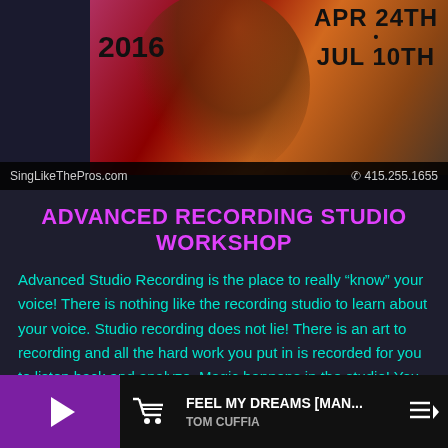[Figure (photo): Screenshot of a mobile app showing an event flyer for Sing Like The Pros. Shows a woman in red dress, dates APR 24TH and JUL 10TH, year 2016, website SingLikeThePros.com and phone number 415.255.1655]
ADVANCED RECORDING STUDIO WORKSHOP
Advanced Studio Recording is the place to really "know" your voice! There is nothing like the recording studio to learn about your voice. Studio recording does not lie! There is an art to recording and all the hard work you put in is recorded for you to listen back and analyze. Magic happens in the studio! You
FEEL MY DREAMS [MAN... TOM CUFFIA